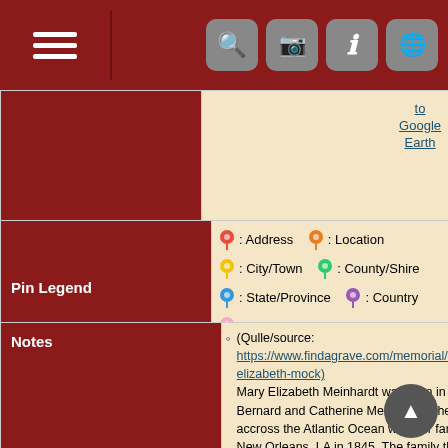[Figure (screenshot): Mobile app toolbar with hamburger menu icon on left and four icon buttons (search, camera, info, globe) on right, dark red background]
to Google Earth
| Pin Legend | Pins |
| --- | --- |
| Pin Legend | : Address   : Location   : City/Town   : County/Shire   : State/Province   : Country   : Not Set |
| Notes | Content |
| --- | --- |
| Notes | (Qulle/source: https://www.findagrave.com/memorial/33723558/mary-elizabeth-mock) Mary Elizabeth Meinhardt was born in Germany to Bernard and Catherine Meinhardt. She traveled accross the Atlantic Ocean with her family, arriving at New Orleans, LA in 1845. The family then traveled to a farm 5 miles north of Davenport, IA on 6 Jul 1845. Mary's mother died on 20 Oct 1845 when she was 8 years old. She married John Mock 20 Jun 1858 and moved to Newbury, KS. Mary Elizabeth Meinhardt Mock died on Tuesday evening, 21 Sep 1909 at her home, having only been sick for 36 hours. She was 71 years, 8 months, and 21 days old. She was respected and loved by all, a good Catholic. She is survived by nine children - Daughters, Elizabeth Schmitz,of Newbury, Emma Richstatter of St Paul, KS, Caroline Zoeller, Josephine Shilling, Paulina Mock, and sons Valentine, James, William and John; four sisters and two brothers, Mrs. Hesse of Newbury, Mrs. Julius Schott of McEarland, Mrs. Angeline Schott of Perry, OK, Mrs. |